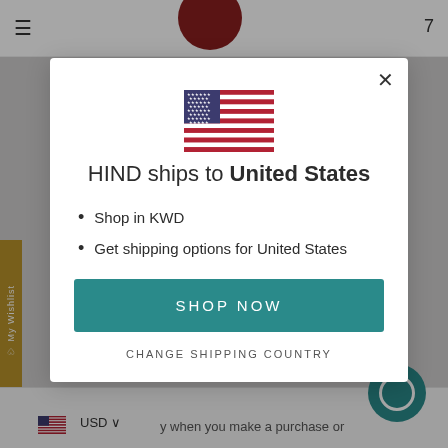[Figure (screenshot): Website background showing navigation bar, logo, sidebar wishlist tab, bottom currency bar, and chat button — partially obscured by modal overlay]
[Figure (illustration): US flag SVG illustration centered in the modal dialog]
HIND ships to United States
Shop in KWD
Get shipping options for United States
SHOP NOW
CHANGE SHIPPING COUNTRY